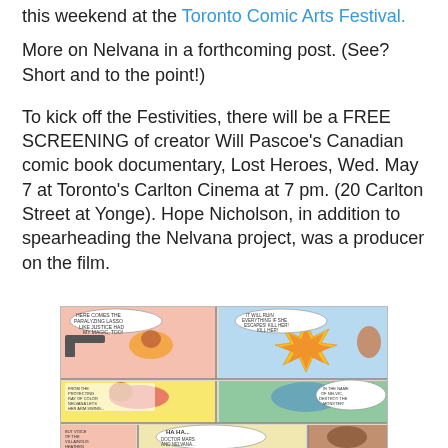this weekend at the Toronto Comic Arts Festival.
More on Nelvana in a forthcoming post. (See? Short and to the point!)
To kick off the Festivities, there will be a FREE SCREENING of creator Will Pascoe’s Canadian comic book documentary, Lost Heroes, Wed. May 7 at Toronto’s Carlton Cinema at 7 pm. (20 Carlton Street at Yonge). Hope Nicholson, in addition to spearheading the Nelvana project, was a producer on the film.
[Figure (illustration): A vintage Canadian comic book panel page showing an action scene with a superhero character (Nelvana) fighting villains, with speech bubbles including text like 'HERE COMES THE PARALYZING LASSO', 'IT WILL RUIN EVERYTHING IF SHE ESCAPES! KILL HER! KILL HER!', 'FROM THE PROTECTING RAY OF COLOR NELVANA LETS HER ARM SWING...', 'IN THE NAME OF NELVIC, DESTROY THE MONSTER!', 'HA HA... DOCTOR MARS AND NELVANA...', 'BUT VOICE OF THE VILLAINOUS HEATHEN TREADS A MEAT'.]